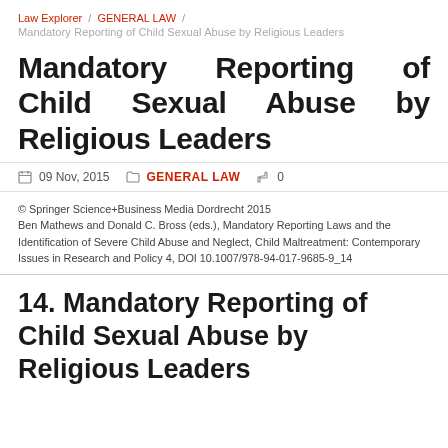Law Explorer / GENERAL LAW / Mandatory Reporting of Child Sexual Abuse by Religious Leaders
Mandatory Reporting of Child Sexual Abuse by Religious Leaders
09 Nov, 2015   GENERAL LAW   0
© Springer Science+Business Media Dordrecht 2015
Ben Mathews and Donald C. Bross (eds.), Mandatory Reporting Laws and the Identification of Severe Child Abuse and Neglect, Child Maltreatment: Contemporary Issues in Research and Policy 4, DOI 10.1007/978-94-017-9685-9_14
14. Mandatory Reporting of Child Sexual Abuse by Religious Leaders